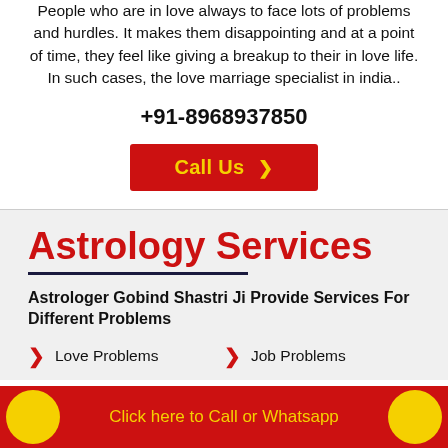People who are in love always to face lots of problems and hurdles. It makes them disappointing and at a point of time, they feel like giving a breakup to their in love life. In such cases, the love marriage specialist in india..
+91-8968937850
Call Us ❯
Astrology Services
Astrologer Gobind Shastri Ji Provide Services For Different Problems
Love Problems
Job Problems
Click here to Call or Whatsapp